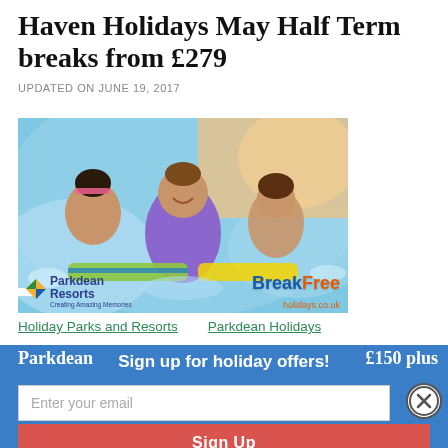Haven Holidays May Half Term breaks from £279
UPDATED ON JUNE 19, 2017
[Figure (photo): A woman and two girls laughing and playing in a water park / pool. The image has Parkdean Resorts and BreakFree Holidays logos overlaid at the bottom.]
Holiday Parks and Resorts   Parkdean Holidays
Parkdean ... £150 plus
Sign up for holiday offers!
Enter your email
Sign Up